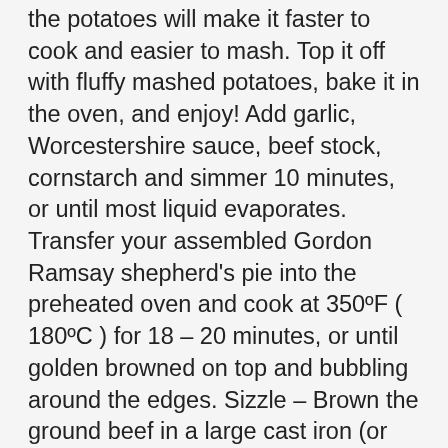the potatoes will make it faster to cook and easier to mash. Top it off with fluffy mashed potatoes, bake it in the oven, and enjoy! Add garlic, Worcestershire sauce, beef stock, cornstarch and simmer 10 minutes, or until most liquid evaporates. Transfer your assembled Gordon Ramsay shepherd's pie into the preheated oven and cook at 350ºF ( 180ºC ) for 18 – 20 minutes, or until golden browned on top and bubbling around the edges. Sizzle – Brown the ground beef in a large cast iron (or oven-proof) skillet. We also use third-party cookies that help us analyze and understand how you use this website. https://www.kevinandamanda.com/easier-shepherds-pie-with-roasted-potatoes Again, pictured here in this post is the classic shepherd's pie filling with the corn. https://www.marthastewart.com/319350/cheddar-topped-shepherds-pie Sauté – Cook the onions, carrots, and garlic until the onions and carrots are soft. When I make this recipe, I like to make single-serving pies. 1 medium onion, chopped (about 1 1/2 cups) 1-2 cups vegetables—diced carrots, corn, peas. I have had mine for years and...